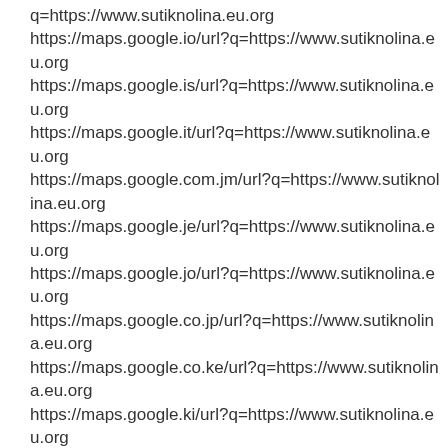q=https://www.sutiknolina.eu.org
https://maps.google.io/url?q=https://www.sutiknolina.eu.org
https://maps.google.is/url?q=https://www.sutiknolina.eu.org
https://maps.google.it/url?q=https://www.sutiknolina.eu.org
https://maps.google.com.jm/url?q=https://www.sutiknolina.eu.org
https://maps.google.je/url?q=https://www.sutiknolina.eu.org
https://maps.google.jo/url?q=https://www.sutiknolina.eu.org
https://maps.google.co.jp/url?q=https://www.sutiknolina.eu.org
https://maps.google.co.ke/url?q=https://www.sutiknolina.eu.org
https://maps.google.ki/url?q=https://www.sutiknolina.eu.org
https://maps.google.kg/url?q=https://www.sutiknolina.eu.org
https://maps.google.co.kr/url?q=https://www.sutiknolina.eu.org
https://maps.google.com.kw/url?q=https://www.sutiknolina.eu.org
https://maps.google.kz/url?q=https://www.sutiknolina.eu.org
https://maps.google.la/url?q=https://www.sutiknolina.eu.org
https://maps.google.com.lb/url?q=https://www.sutiknolina.eu.org
https://maps.google.com.lc/url?q=https://www.sutiknolina.eu.org